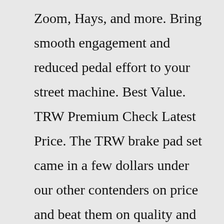Zoom, Hays, and more. Bring smooth engagement and reduced pedal effort to your street machine. Best Value. TRW Premium Check Latest Price. The TRW brake pad set came in a few dollars under our other contenders on price and beat them on quality and performance rating. TRW part number TPM0349 ...The all-new 2022 Toyota Tundra has two available powertrain options: a twin-turbo V6 engine and a